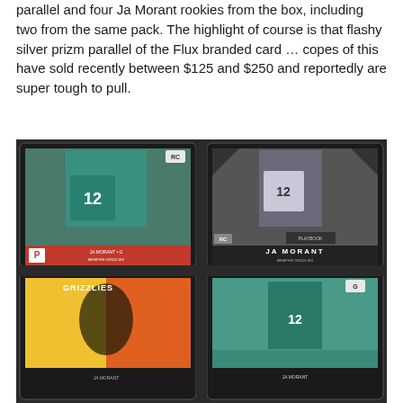parallel and four Ja Morant rookies from the box, including two from the same pack. The highlight of course is that flashy silver prizm parallel of the Flux branded card … copes of this have sold recently between $125 and $250 and reportedly are super tough to pull.
[Figure (photo): Four Ja Morant rookie basketball cards displayed in card savers/holders on a dark surface. Top left: Panini Chronicles card showing Ja Morant #12 in teal Grizzlies uniform with RC badge. Top right: Panini Playbook card showing Ja Morant #12 in white Grizzlies uniform with RC badge. Bottom left: Prizm card with colorful background showing partial player image labeled GRIZZLIES. Bottom right: Card showing Ja Morant in teal Grizzlies uniform with RC badge.]